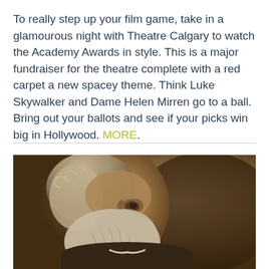To really step up your film game, take in a glamourous night with Theatre Calgary to watch the Academy Awards in style. This is a major fundraiser for the theatre complete with a red carpet a new spacey theme. Think Luke Skywalker and Dame Helen Mirren go to a ball. Bring out your ballots and see if your picks win big in Hollywood. MORE.
[Figure (photo): Sepia-toned portrait photograph of an elderly man with white hair and a full white beard, shown in profile facing right. The image has a vintage, 19th-century photographic quality.]